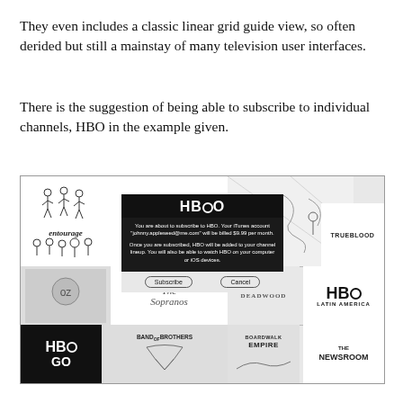They even includes a classic linear grid guide view, so often derided but still a mainstay of many television user interfaces.
There is the suggestion of being able to subscribe to individual channels, HBO in the example given.
[Figure (screenshot): Screenshot of an HBO channel subscription UI mockup showing a grid of HBO show tiles (Entourage, Angry Boys, True Blood, The Sopranos, Oz, Deadwood, HBO Latin America, HBO GO, Band of Brothers, Boardwalk Empire, The Newsroom) with a dark overlay popup asking to subscribe to HBO, stating the iTunes account 'johnny.appleseed@me.com' will be billed $9.99 per month, with Subscribe and Cancel buttons.]